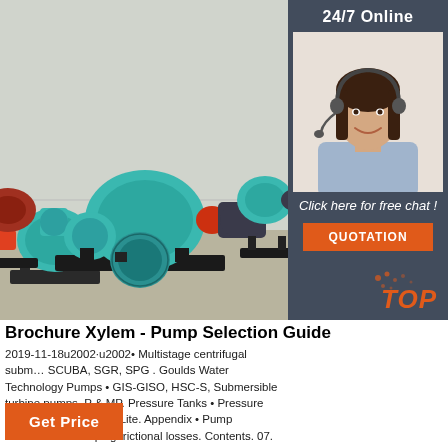[Figure (photo): Industrial teal centrifugal pumps on black stands in a warehouse/factory setting. Multiple large pumps with red flanges and electric motors visible.]
[Figure (photo): 24/7 Online support box with smiling female customer service representative wearing headset, dark overlay background, 'Click here for free chat!' text and orange QUOTATION button.]
Brochure Xylem - Pump Selection Guide
2019-11-18u2002·u2002• Multistage centrifugal subm… SCUBA, SGR, SPG . Goulds Water Technology Pumps • GIS-GISO, HSC-S, Submersible turbine pumps, P & MP. Pressure Tanks • Pressure Wave, Challenger, C2 Lite. Appendix • Pump fundamentals • Piping frictional losses. Contents. 07. 13 21. 33 37. 45 57. 69 73. 77.
Get Price